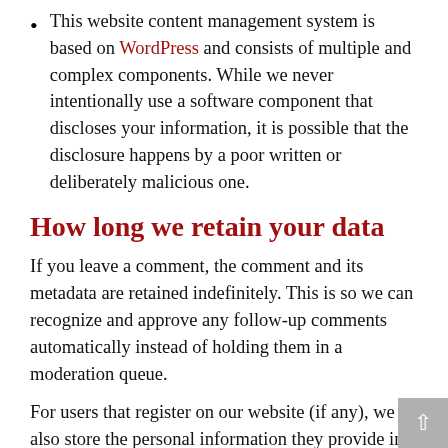This website content management system is based on WordPress and consists of multiple and complex components. While we never intentionally use a software component that discloses your information, it is possible that the disclosure happens by a poor written or deliberately malicious one.
How long we retain your data
If you leave a comment, the comment and its metadata are retained indefinitely. This is so we can recognize and approve any follow-up comments automatically instead of holding them in a moderation queue.
For users that register on our website (if any), we also store the personal information they provide in their user profile. All users can see, edit, or delete their personal information at any time (except they cannot change their username). Website administrators can also see and edit that information.